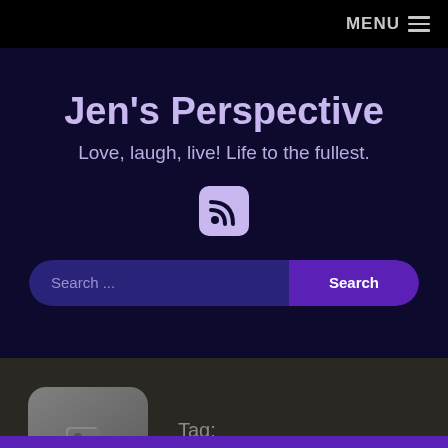MENU ☰
Jen's Perspective
Love, laugh, live! Life to the fullest.
[Figure (illustration): RSS feed icon in a rounded purple square]
Search ...
Search
[Figure (illustration): Tag icon in a grey rounded square]
Tag:
potassium